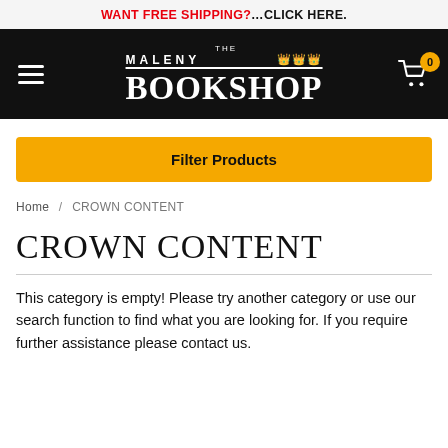WANT FREE SHIPPING?...CLICK HERE.
[Figure (logo): The Maleny Bookshop logo on black navigation bar with hamburger menu and shopping cart icon showing 0 items]
Filter Products
Home / CROWN CONTENT
CROWN CONTENT
This category is empty! Please try another category or use our search function to find what you are looking for. If you require further assistance please contact us.